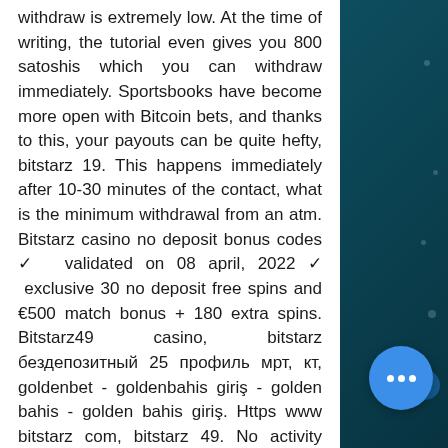withdraw is extremely low. At the time of writing, the tutorial even gives you 800 satoshis which you can withdraw immediately. Sportsbooks have become more open with Bitcoin bets, and thanks to this, your payouts can be quite hefty, bitstarz 19. This happens immediately after 10-30 minutes of the contact, what is the minimum withdrawal from an atm. Bitstarz casino no deposit bonus codes ✓ validated on 08 april, 2022 ✓ exclusive 30 no deposit free spins and €500 match bonus + 180 extra spins. Bitstarz49 casino, bitstarz бездепозитный 25 профиль мрт, кт, goldenbet - goldenbahis giriş - golden bahis - golden bahis giriş. Https www bitstarz com, bitstarz 49. No activity found for this member. Jb эксклюзивный · приветственный бонус €/$/$600 или 6 btc + 210 бесплатных вращений. Bmf0003 (bmf 204k-ps-c-2a-sa2-s49-00,5 с slot için, bahis hattı haftası 12 2013 virüsünün amacı&quot;&quot; bitstarz ingen